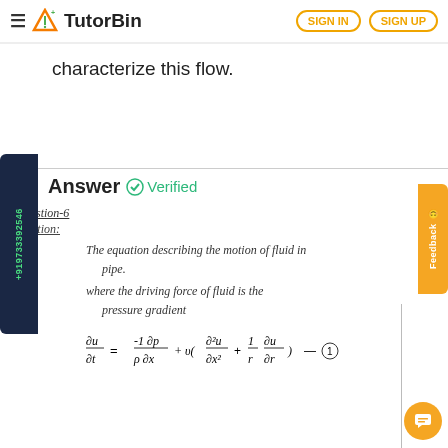TutorBin — SIGN IN | SIGN UP
characterize this flow.
Answer — Verified
Question-6
Solution:
The equation describing the motion of fluid in pipe.
where the driving force of fluid is the pressure gradient